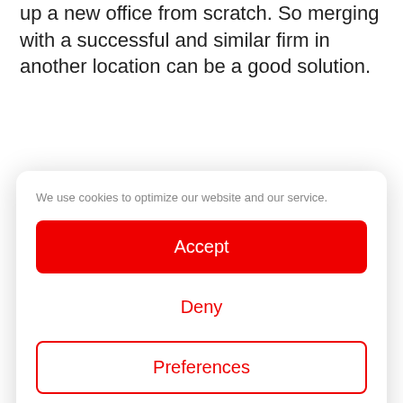up a new office from scratch. So merging with a successful and similar firm in another location can be a good solution.
We use cookies to optimize our website and our service.
Accept
Deny
Preferences
Legal Information   Privacy Statement
and work.
Succession – If the owners of a property partnership are approaching retirement